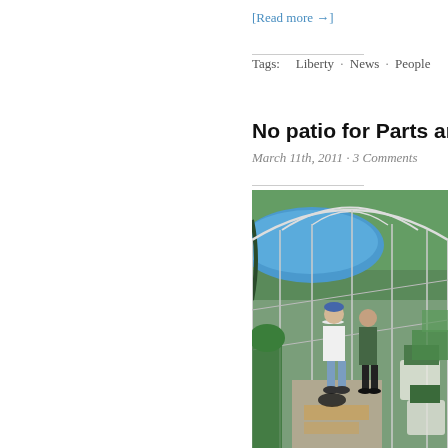[Read more →]
Tags:  Liberty · News · People
No patio for Parts and
March 11th, 2011 · 3 Comments
[Figure (photo): Two people standing inside a greenhouse/hoop house structure with a blue tarp canopy, surrounded by plants and garden beds]